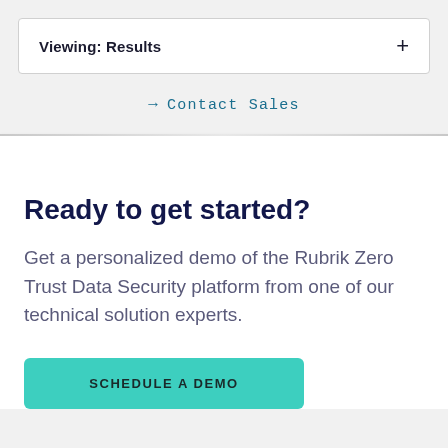Viewing: Results
→ Contact Sales
Ready to get started?
Get a personalized demo of the Rubrik Zero Trust Data Security platform from one of our technical solution experts.
SCHEDULE A DEMO